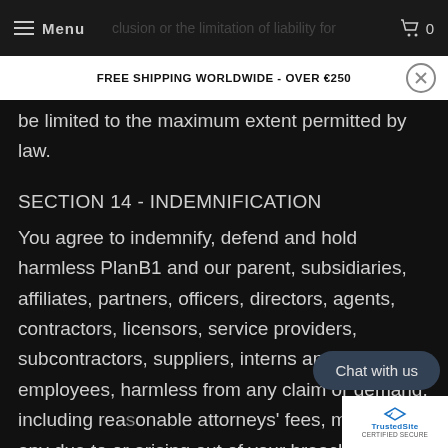Menu | FREE SHIPPING WORLDWIDE - OVER €250
be limited to the maximum extent permitted by law.
SECTION 14 - INDEMNIFICATION
You agree to indemnify, defend and hold harmless PlanB1 and our parent, subsidiaries, affiliates, partners, officers, directors, agents, contractors, licensors, service providers, subcontractors, suppliers, interns and employees, harmless from any claim or demand, including reasonable attorneys' fees, made by any third party due to or arising out of your breach or these Terms of Service or the documents